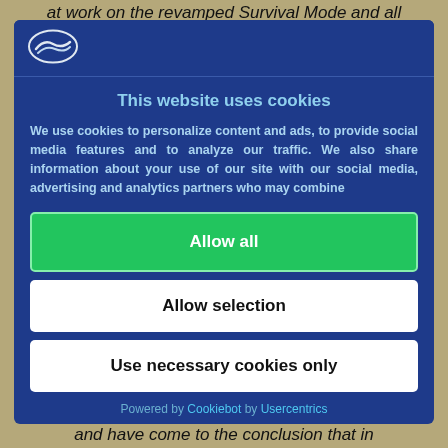at work on the revamped Survival Mode and all
[Figure (logo): Cookiebot/Usercentrics logo — white oval with layered wave shapes on dark blue background]
This website uses cookies
We use cookies to personalize content and ads, to provide social media features and to analyze our traffic. We also share information about your use of our site with our social media, advertising and analytics partners who may combine
Allow all
Allow selection
Use necessary cookies only
Powered by Cookiebot by Usercentrics
and have come to the conclusion that in